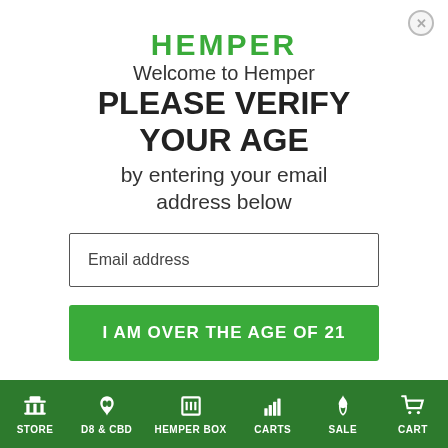HEMPER
Welcome to Hemper
PLEASE VERIFY YOUR AGE by entering your email address below
Email address
I AM OVER THE AGE OF 21
STORE | D8 & CBD | HEMPER BOX | CARTS | SALE | CART